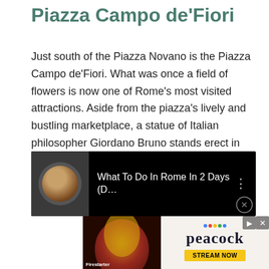Piazza Campo de'Fiori
Just south of the Piazza Novano is the Piazza Campo de’Fiori. What was once a field of flowers is now one of Rome’s most visited attractions. Aside from the piazza’s lively and bustling marketplace, a statue of Italian philosopher Giordano Bruno stands erect in the square, as well as the Fontana Della Terrina
[Figure (screenshot): Video thumbnail bar with black background showing a person and text 'What To Do In Rome In 2 Days (D...' with a three-dot menu icon]
[Figure (screenshot): Advertisement for Peacock streaming service with Firestarter movie image on left and Peacock logo with 'STREAM NOW' button on right, with close and forward buttons]